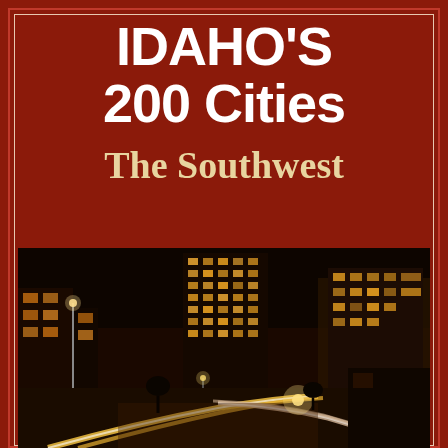IDAHO'S 200 Cities
The Southwest
[Figure (photo): Night cityscape of a southwestern Idaho city (likely Boise), showing illuminated downtown buildings, a tall office tower, and light trails from vehicle traffic on a major road, taken from an elevated perspective at night.]